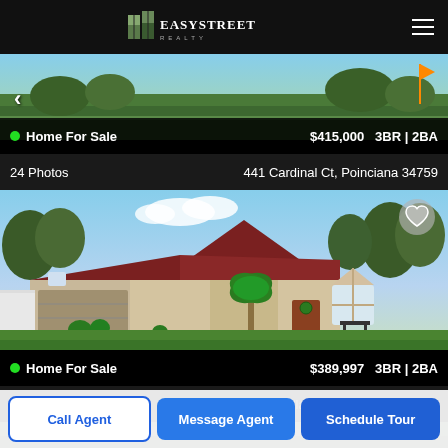[Figure (logo): EasyStreet Realty logo with building icon, white text on black header bar]
[Figure (photo): Aerial/landscape photo of Poinciana property - green lawn/field view for 441 Cardinal Ct listing]
Home For Sale   $415,000   3BR | 2BA
24 Photos   441 Cardinal Ct, Poinciana 34759
[Figure (photo): Front exterior photo of 521 Mallard Ct house - tan stucco with red tile roof, palm tree, two-car garage, Poinciana 34759]
Home For Sale   $389,997   3BR | 2BA
39 Photos   521 Mallard Ct, Poinciana 34759
[Figure (photo): Partial view of third listing property - white house exterior, partially cropped]
Call Agent
Message Agent
Schedule Tour